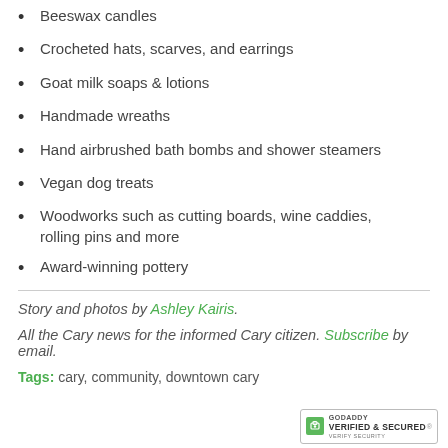Beeswax candles
Crocheted hats, scarves, and earrings
Goat milk soaps & lotions
Handmade wreaths
Hand airbrushed bath bombs and shower steamers
Vegan dog treats
Woodworks such as cutting boards, wine caddies, rolling pins and more
Award-winning pottery
Story and photos by Ashley Kairis.
All the Cary news for the informed Cary citizen. Subscribe by email.
Tags: cary, community, downtown cary
[Figure (logo): GoDaddy Verified & Secured badge]